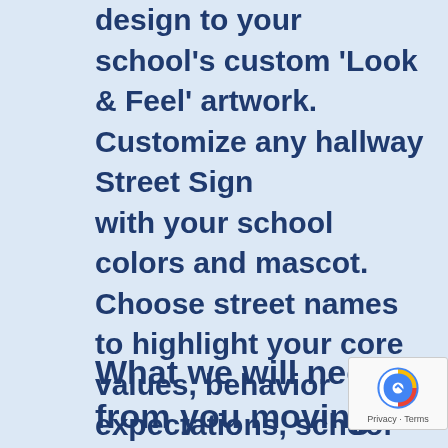design to your school's custom 'Look & Feel' artwork. Customize any hallway Street Sign with your school colors and mascot. Choose street names to highlight your core values, behavior expectations, school spirit, or to create a college-ready atmosphere in every hallway on your campus! Includes double-sided adhesives.
What we will need from you moving